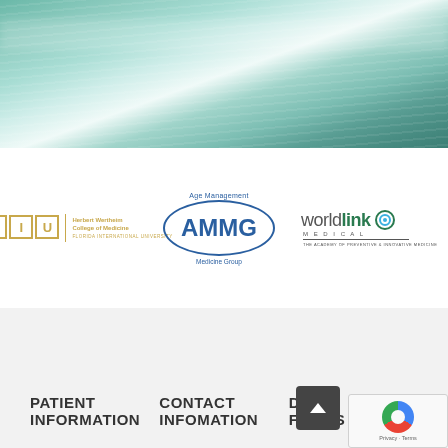[Figure (illustration): Teal/green gradient hero banner with horizontal light streaks, decorative background]
[Figure (logo): FIU Herbert Wertheim College of Medicine, Florida International University logo in gold/yellow]
[Figure (logo): Age Management Medicine Group (AMMG) logo with oval border in blue]
[Figure (logo): WorldLink Medical - The Academy of Preventive & Innovative Medicine logo in green and grey]
PATIENT INFORMATION
CONTACT INFOMATION
DOWNLOAD FORMS